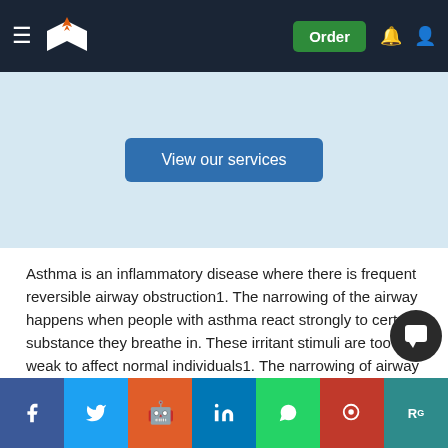[Figure (screenshot): Navigation bar with hamburger menu, logo (book with pen), Order button, bell icon, user icon]
[Figure (other): Light blue banner section with 'View our services' blue button]
Asthma is an inflammatory disease where there is frequent reversible airway obstruction1. The narrowing of the airway happens when people with asthma react strongly to certain substance they breathe in. These irritant stimuli are too weak to affect normal individuals1. The narrowing of airway is also caused by other factors which include mucosal swelling or inflammation caused by inflammatory mediators released by mast cell and basophil degranulation as well as mucus or phlegm production.
The causes of asthma include genetic factor, environmental factors, and other factors5. The most common symptoms of asthma are wheezing,
[Figure (other): Social sharing bar with buttons: Facebook, Twitter, Reddit, LinkedIn, WhatsApp, Mendeley, ResearchGate]